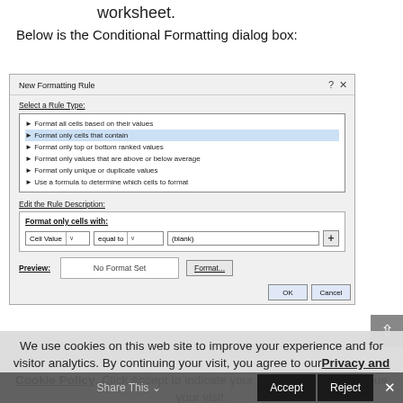worksheet.
Below is the Conditional Formatting dialog box:
[Figure (screenshot): New Formatting Rule dialog box showing rule type list with 'Format only cells that contain' selected, and Edit the Rule Description section with Cell Value, equal to, (blank) dropdowns, Preview area showing 'No Format Set', and Format... button]
We use cookies on this web site to improve your experience and for visitor analytics. By continuing your visit, you agree to our Privacy and Cookie Policy. Click Accept to indicate your agreement and continue your visit.
Share This
Accept
Reject